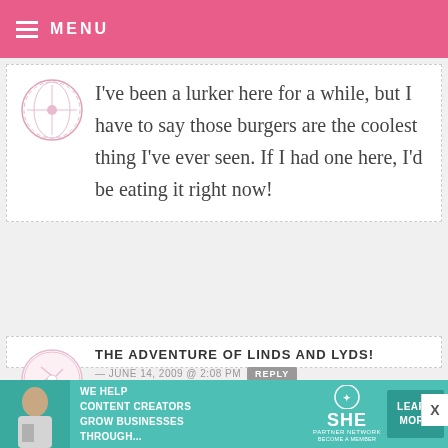MENU
I've been a lurker here for a while, but I have to say those burgers are the coolest thing I've ever seen. If I had one here, I'd be eating it right now!
THE ADVENTURE OF LINDS AND LYDS!
— JUNE 14, 2009 @ 2:08 PM  REPLY
Those are adorable. I did something similar for my daughter's 50's sock hop. Instead of cookie fries mine were
[Figure (infographic): Teal advertisement banner: WE HELP CONTENT CREATORS GROW BUSINESSES THROUGH... SHE PARTNER NETWORK BECOME A MEMBER LEARN MORE]